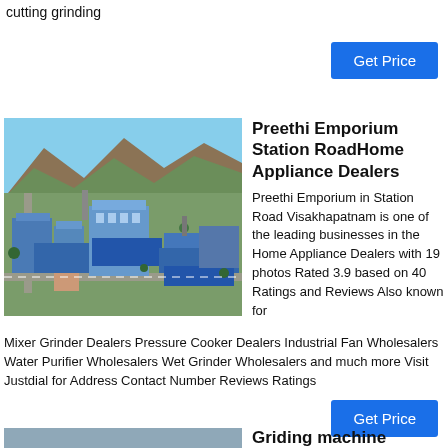cutting grinding
Get Price
[Figure (photo): Aerial view of an industrial factory complex with blue-roofed buildings, surrounded by mountains and greenery.]
Preethi Emporium Station RoadHome Appliance Dealers
Preethi Emporium in Station Road Visakhapatnam is one of the leading businesses in the Home Appliance Dealers with 19 photos Rated 3.9 based on 40 Ratings and Reviews Also known for Mixer Grinder Dealers Pressure Cooker Dealers Industrial Fan Wholesalers Water Purifier Wholesalers Wet Grinder Wholesalers and much more Visit Justdial for Address Contact Number Reviews Ratings
Get Price
Griding machine